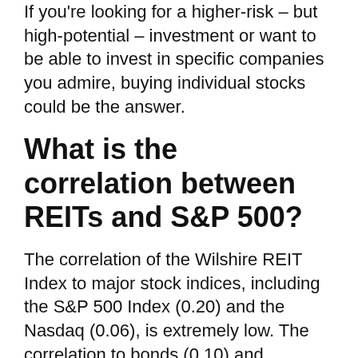If you're looking for a higher-risk – but high-potential – investment or want to be able to invest in specific companies you admire, buying individual stocks could be the answer.
What is the correlation between REITs and S&P 500?
The correlation of the Wilshire REIT Index to major stock indices, including the S&P 500 Index (0.20) and the Nasdaq (0.06), is extremely low. The correlation to bonds (0.10) and international stocks (0.13) is equally low.
Are REITs a good hedge